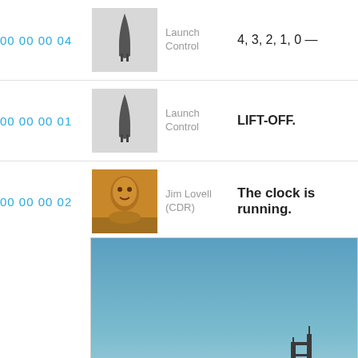00 00 00 04
[Figure (illustration): Rocket silhouette icon on grey background]
Launch Control
4, 3, 2, 1, 0 —
00 00 00 01
[Figure (illustration): Rocket silhouette icon on grey background]
Launch Control
LIFT-OFF.
00 00 00 02
[Figure (photo): Jim Lovell portrait photo with warm golden tone]
Jim Lovell (CDR)
The clock is running.
[Figure (photo): Blue sky with rocket/launch tower silhouette at bottom right]